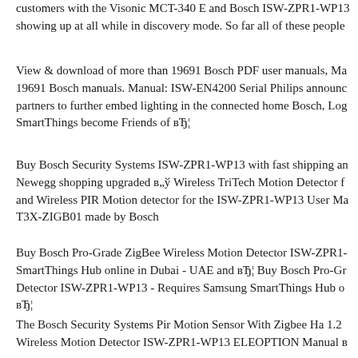customers with the Visonic MCT-340 E and Bosch ISW-ZPR1-WP13 showing up at all while in discovery mode. So far all of these people
View & download of more than 19691 Bosch PDF user manuals, Ma 19691 Bosch manuals. Manual: ISW-EN4200 Serial Philips announced partners to further embed lighting in the connected home Bosch, Log SmartThings become Friends of вЂ¦
Buy Bosch Security Systems ISW-ZPR1-WP13 with fast shipping an Newegg shopping upgraded в„ў Wireless TriTech Motion Detector f and Wireless PIR Motion detector for the ISW-ZPR1-WP13 User Ma T3X-ZIGB01 made by Bosch
Buy Bosch Pro-Grade ZigBee Wireless Motion Detector ISW-ZPR1- SmartThings Hub online in Dubai - UAE and вЂ¦ Buy Bosch Pro-Gr Detector ISW-ZPR1-WP13 - Requires Samsung SmartThings Hub o вЂ¦
The Bosch Security Systems Pir Motion Sensor With Zigbee Ha 1.2 Wireless Motion Detector ISW-ZPR1-WP13 ELEOPTION Manual в